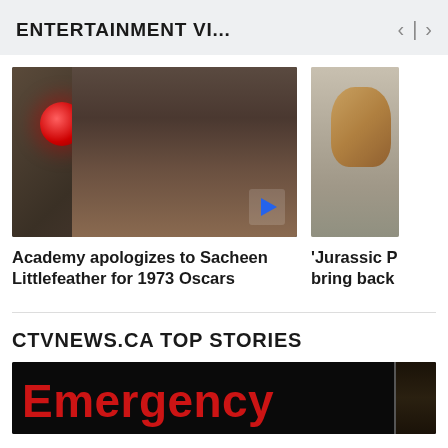ENTERTAINMENT VI...
[Figure (screenshot): Video thumbnail showing a woman (Sacheen Littlefeather) with a red traffic light visible, with a play button overlay]
[Figure (photo): Partial thumbnail showing an animal (appears to be a dog or similar) against a concrete/mesh background]
Academy apologizes to Sacheen Littlefeather for 1973 Oscars
'Jurassic P bring back
CTVNEWS.CA TOP STORIES
[Figure (photo): Illuminated red 'Emergency' sign against a dark background, partially cropped at bottom of page]